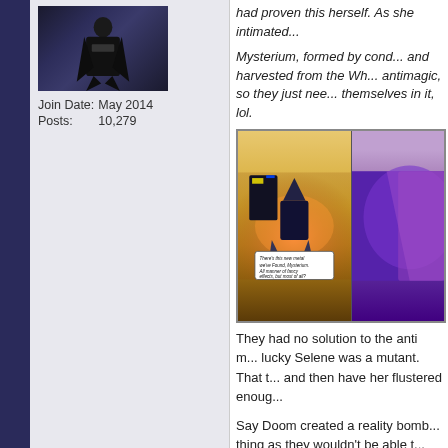[Figure (illustration): User avatar showing a dark-costumed figure on dark blue background]
Join Date:   May 2014
Posts:   10,279
had proven this herself. As she intimated...
Mysterium, formed by condensing and harvested from the Wh... antimagic, so they just need... themselves in it, lol.
[Figure (illustration): Comic panel showing armored figures with energy effects and a speech bubble that reads: There's this new metal we've Found, Mysterium. All manner of fancy effects, but most of all?]
They had no solution to the anti m... lucky Selene was a mutant. That t... and then have her flustered enoug...
Say Doom created a reality bomb... thing as they wouldn't be able t...